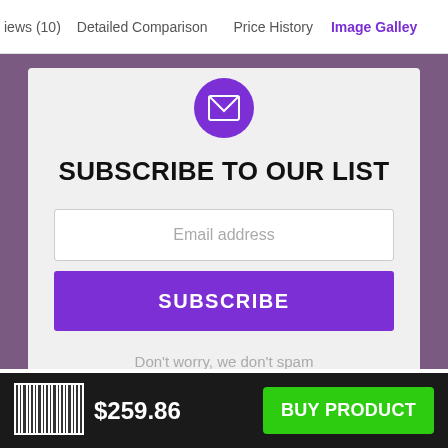iews (10)   Detailed Comparison   Price History   Image Galley
[Figure (screenshot): Subscribe to our list card with email input and subscribe button on purple background]
SUBSCRIBE TO OUR LIST
Email address
SUBSCRIBE
Don't worry, we don't spam
$259.86
BUY PRODUCT